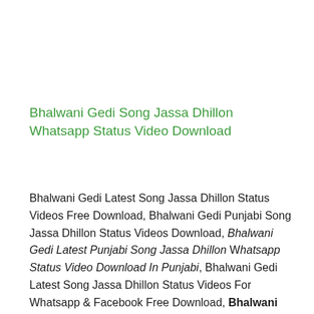Bhalwani Gedi Song Jassa Dhillon Whatsapp Status Video Download
Bhalwani Gedi Latest Song Jassa Dhillon Status Videos Free Download, Bhalwani Gedi Punjabi Song Jassa Dhillon Status Videos Download, Bhalwani Gedi Latest Punjabi Song Jassa Dhillon Whatsapp Status Video Download In Punjabi, Bhalwani Gedi Latest Song Jassa Dhillon Status Videos For Whatsapp & Facebook Free Download, Bhalwani Gedi New Punjabi Song Jassa Dhillon Status Videos Download.